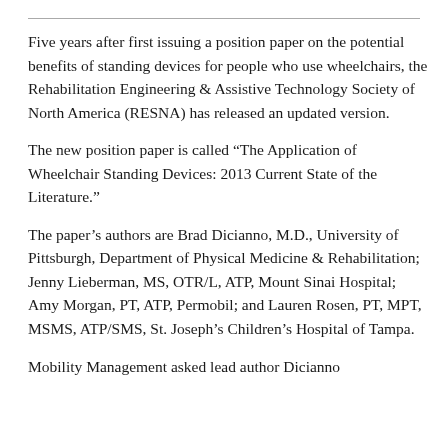Five years after first issuing a position paper on the potential benefits of standing devices for people who use wheelchairs, the Rehabilitation Engineering & Assistive Technology Society of North America (RESNA) has released an updated version.
The new position paper is called “The Application of Wheelchair Standing Devices: 2013 Current State of the Literature.”
The paper’s authors are Brad Dicianno, M.D., University of Pittsburgh, Department of Physical Medicine & Rehabilitation; Jenny Lieberman, MS, OTR/L, ATP, Mount Sinai Hospital; Amy Morgan, PT, ATP, Permobil; and Lauren Rosen, PT, MPT, MSMS, ATP/SMS, St. Joseph’s Children’s Hospital of Tampa.
Mobility Management asked lead author Dicianno